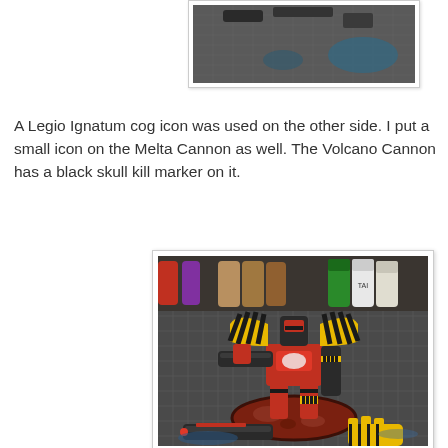[Figure (photo): Top portion of a painted miniature or terrain piece on a cutting mat, partially visible at the top of the page]
A Legio Ignatum cog icon was used on the other side. I put a small icon on the Melta Cannon as well. The Volcano Cannon has a black skull kill marker on it.
[Figure (photo): A fully painted Warhammer 40K Titan miniature (Warlord/Knight class) with red and yellow hazard stripe shoulder pads, standing on a reddish base on a cutting mat, with paint pots visible in the background. Detached weapons (cannon and claw) are visible in front of the base.]